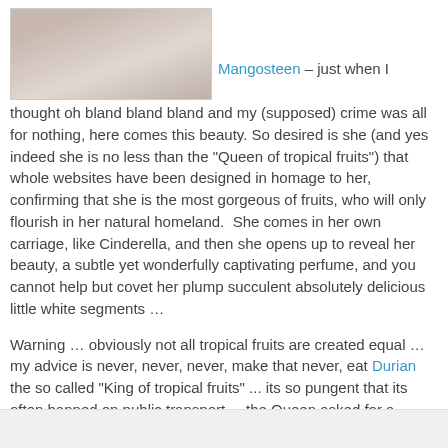[Figure (photo): Photo of a mangosteen fruit, partially peeled, showing white flesh, on a white background.]
Mangosteen – just when I thought oh bland bland bland and my (supposed) crime was all for nothing, here comes this beauty. So desired is she (and yes indeed she is no less than the "Queen of tropical fruits") that whole websites have been designed in homage to her, confirming that she is the most gorgeous of fruits, who will only flourish in her natural homeland.  She comes in her own carriage, like Cinderella, and then she opens up to reveal her beauty, a subtle yet wonderfully captivating perfume, and you cannot help but covet her plump succulent absolutely delicious little white segments …
Warning … obviously not all tropical fruits are created equal … my advice is never, never, never, make that never, eat Durian the so called "King of tropical fruits" ... its so pungent that its often banned on public transport ... the Queen asked for a divorce a long time ago ... for good reason, not treason.